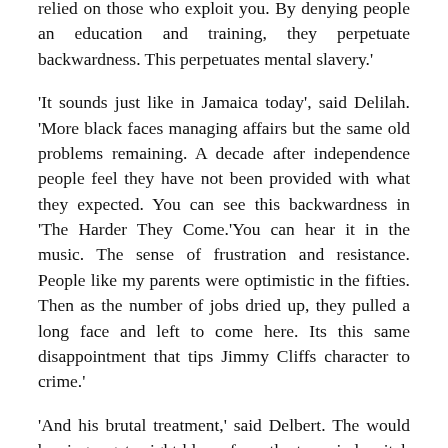relied on those who exploit you. By denying people an education and training, they perpetuate backwardness. This perpetuates mental slavery.'
'It sounds just like in Jamaica today', said Delilah. 'More black faces managing affairs but the same old problems remaining. A decade after independence people feel they have not been provided with what they expected. You can see this backwardness in 'The Harder They Come.'You can hear it in the music. The sense of frustration and resistance. People like my parents were optimistic in the fifties. Then as the number of jobs dried up, they pulled a long face and left to come here. Its this same disappointment that tips Jimmy Cliffs character to crime.'
'And his brutal treatment,' said Delbert. The would be singer gets eight blows from the tamarind switch from captors as black as himself.'
'It's not just the land of beautiful beaches with luxurious resorts that we see in the glossy travel brochures,' I said. 'Jamaica's always been a place run on violence and terror. You can see the legacy of